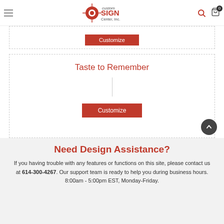Custom Sign Center, Inc.
Customize
Taste to Remember
Customize
Need Design Assistance?
If you having trouble with any features or functions on this site, please contact us at 614-300-4267. Our support team is ready to help you during business hours. 8:00am - 5:00pm EST, Monday-Friday.